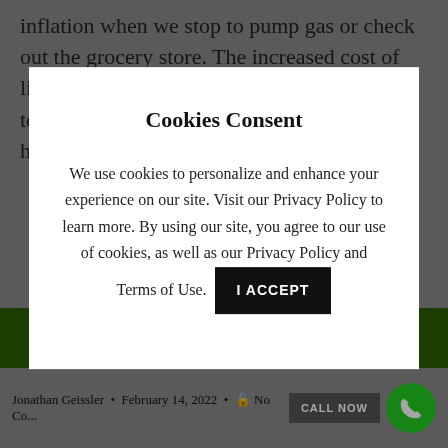inflation when we stop to pump gas or check out the grocery store. The increased cost of living has become widespread and continues to rise, from transportation and food to healthcare and housing. [...]
Cookies Consent
We use cookies to personalize and enhance your experience on our site. Visit our Privacy Policy to learn more. By using our site, you agree to our use of cookies, as well as our Privacy Policy and Terms of Use.
GET A QUOTE
Jonathan Geissler • February 14, 2022 • No Co...
CALL NOW